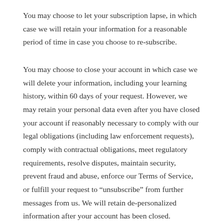You may choose to let your subscription lapse, in which case we will retain your information for a reasonable period of time in case you choose to re-subscribe.
You may choose to close your account in which case we will delete your information, including your learning history, within 60 days of your request. However, we may retain your personal data even after you have closed your account if reasonably necessary to comply with our legal obligations (including law enforcement requests), comply with contractual obligations, meet regulatory requirements, resolve disputes, maintain security, prevent fraud and abuse, enforce our Terms of Service, or fulfill your request to “unsubscribe” from further messages from us. We will retain de-personalized information after your account has been closed.
If you would like to access the information that we have about your use of and access to FeltingTutorials.com Services, please request it by writing to us at the addresses at the end of this Privacy Policy.